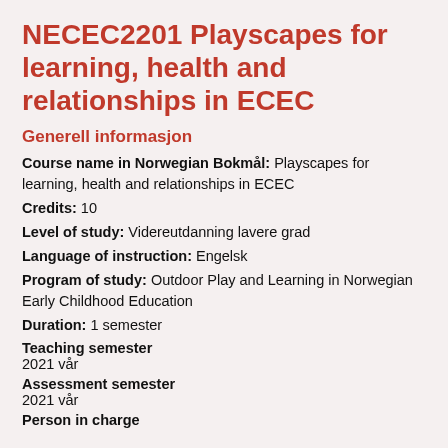NECEC2201 Playscapes for learning, health and relationships in ECEC
Generell informasjon
Course name in Norwegian Bokmål: Playscapes for learning, health and relationships in ECEC
Credits: 10
Level of study: Videreutdanning lavere grad
Language of instruction: Engelsk
Program of study: Outdoor Play and Learning in Norwegian Early Childhood Education
Duration: 1 semester
Teaching semester
2021 vår
Assessment semester
2021 vår
Person in charge